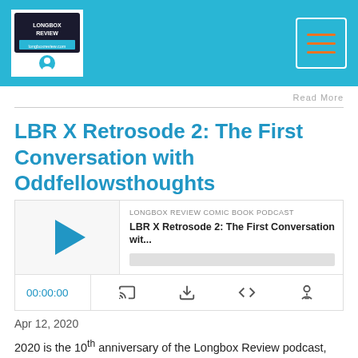Longbox Review Comic Book Podcast - header with logo and menu
Read More
LBR X Retrosode 2: The First Conversation with Oddfellowsthoughts
[Figure (other): Podcast player embed showing play button, episode title 'LBR X Retrosode 2: The First Conversation wit...', source 'LONGBOX REVIEW COMIC BOOK PODCAST', progress bar, time display 00:00:00, and control icons for cast, download, embed, and speed]
Apr 12, 2020
2020 is the 10th anniversary of the Longbox Review podcast, and to celebrate, I am spotlighting 10 episodes from the archive. This is a rebroadcast of episode 4 which was my first on-mic conversation with one of my oldest friends, Travis. He has his own YouTube channel, so please watch his videos and subscribe to...